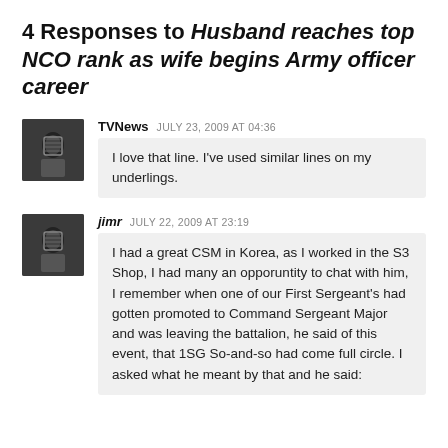4 Responses to Husband reaches top NCO rank as wife begins Army officer career
TVNews  JULY 23, 2009 AT 04:36
I love that line. I've used similar lines on my underlings.
jimr  JULY 22, 2009 AT 23:19
I had a great CSM in Korea, as I worked in the S3 Shop, I had many an opporuntity to chat with him, I remember when one of our First Sergeant's had gotten promoted to Command Sergeant Major and was leaving the battalion, he said of this event, that 1SG So-and-so had come full circle. I asked what he meant by that and he said: